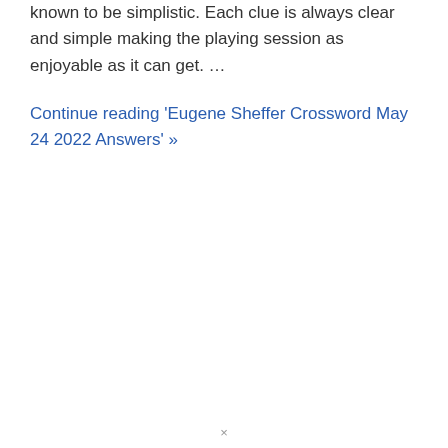known to be simplistic. Each clue is always clear and simple making the playing session as enjoyable as it can get. …
Continue reading 'Eugene Sheffer Crossword May 24 2022 Answers' »